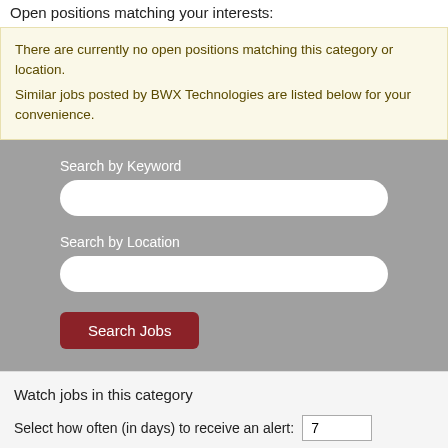Open positions matching your interests:
There are currently no open positions matching this category or location.
Similar jobs posted by BWX Technologies are listed below for your convenience.
[Figure (screenshot): Job search form with Search by Keyword text field, Search by Location text field, and a Search Jobs button on a gray background.]
Watch jobs in this category
Select how often (in days) to receive an alert: 7